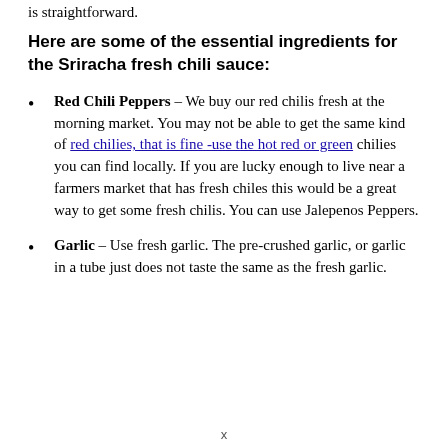is straightforward.
Here are some of the essential ingredients for the Sriracha fresh chili sauce:
Red Chili Peppers – We buy our red chilis fresh at the morning market. You may not be able to get the same kind of red chilies, that is fine -use the hot red or green chilies you can find locally. If you are lucky enough to live near a farmers market that has fresh chiles this would be a great way to get some fresh chilis. You can use Jalepenos Peppers.
Garlic – Use fresh garlic. The pre-crushed garlic, or garlic in a tube just does not taste the same as the fresh garlic.
x